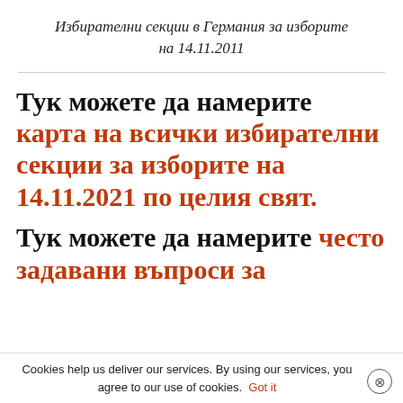Избирателни секции в Германия за изборите на 14.11.2011
Тук можете да намерите карта на всички избирателни секции за изборите на 14.11.2021 по целия свят.
Тук можете да намерите често задавани въпроси за изборите на 14.11.2021 по целия свят.
Cookies help us deliver our services. By using our services, you agree to our use of cookies. Got it